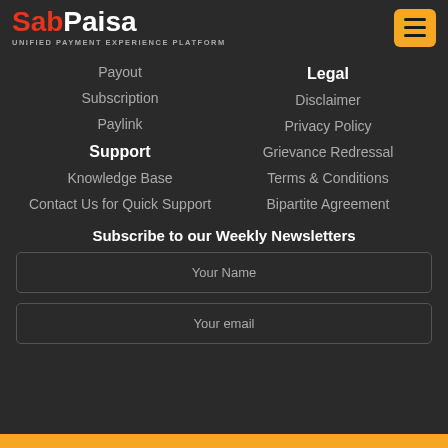[Figure (logo): SabPaisa logo with tagline 'Unified Payment Experience Platform' and orange hamburger menu button]
Payout
Subscription
Paylink
Support
Knowledge Base
Contact Us for Quick Support
Legal
Disclaimer
Privacy Policy
Grievance Redressal
Terms & Conditions
Bipartite Agreement
Subscribe to our Weekly Newsletters
Your Name
Your email